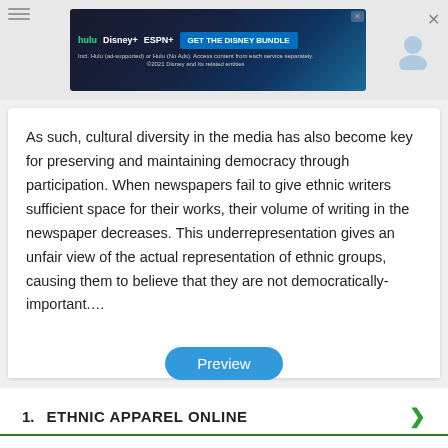[Figure (screenshot): Disney Bundle advertisement banner with Hulu, Disney+, ESPN+ logos and 'GET THE DISNEY BUNDLE' call to action button]
As such, cultural diversity in the media has also become key for preserving and maintaining democracy through participation. When newspapers fail to give ethnic writers sufficient space for their works, their volume of writing in the newspaper decreases. This underrepresentation gives an unfair view of the actual representation of ethnic groups, causing them to believe that they are not democratically-important....
[Figure (screenshot): Preview button - a blue rounded button with white text reading 'Preview']
1.  ETHNIC APPAREL ONLINE